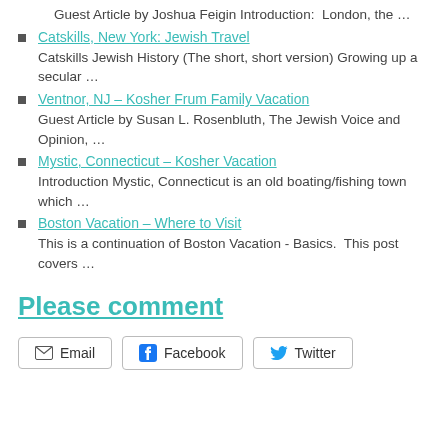Guest Article by Joshua Feigin Introduction:  London, the …
Catskills, New York: Jewish Travel
Catskills Jewish History (The short, short version) Growing up a secular …
Ventnor, NJ – Kosher Frum Family Vacation
Guest Article by Susan L. Rosenbluth, The Jewish Voice and Opinion, …
Mystic, Connecticut – Kosher Vacation
Introduction Mystic, Connecticut is an old boating/fishing town which …
Boston Vacation – Where to Visit
This is a continuation of Boston Vacation - Basics.  This post covers …
Please comment
Email   Facebook   Twitter